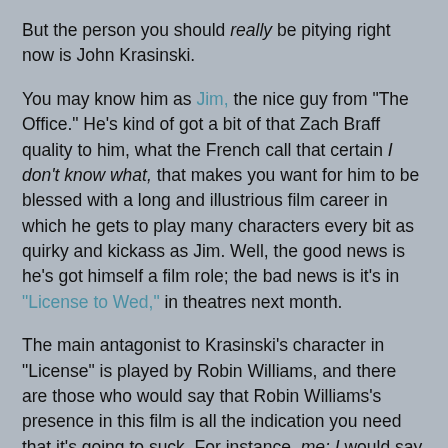But the person you should really be pitying right now is John Krasinski.
You may know him as Jim, the nice guy from "The Office." He's kind of got a bit of that Zach Braff quality to him, what the French call that certain I don't know what, that makes you want for him to be blessed with a long and illustrious film career in which he gets to play many characters every bit as quirky and kickass as Jim. Well, the good news is he's got himself a film role; the bad news is it's in "License to Wed," in theatres next month.
The main antagonist to Krasinski's character in "License" is played by Robin Williams, and there are those who would say that Robin Williams's presence in this film is all the indication you need that it's going to suck. For instance, me: I would say that. (Has he appeared in a comedy in the last decade that didn't blow harder than the wake turbulence jet blast from a 747? Go on, think about that one for a minute.) In fact, I think it's fair to say that this movie goes beyond the unfunny and deep into the intelligence-insulting. The running